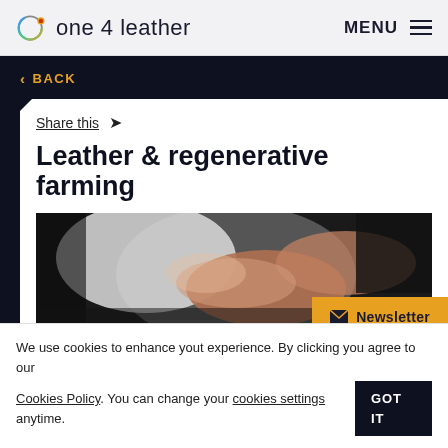one 4 leather   MENU
< BACK
Share this ➤
Leather & regenerative farming
[Figure (photo): Close-up of two people shaking hands, one wearing a white garment, dark background]
Newsletter
We use cookies to enhance yout experience. By clicking you agree to our Cookies Policy. You can change your cookies settings anytime.   GOT IT